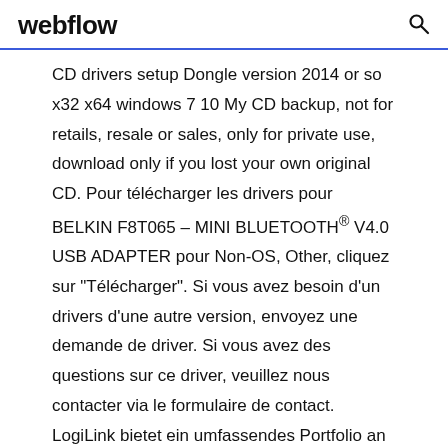webflow
CD drivers setup Dongle version 2014 or so x32 x64 windows 7 10 My CD backup, not for retails, resale or sales, only for private use, download only if you lost your own original CD. Pour télécharger les drivers pour BELKIN F8T065 – MINI BLUETOOTH® V4.0 USB ADAPTER pour Non-OS, Other, cliquez sur "Télécharger". Si vous avez besoin d'un drivers d'une autre version, envoyez une demande de driver. Si vous avez des questions sur ce driver, veuillez nous contacter via le formulaire de contact. LogiLink bietet ein umfassendes Portfolio an Produkten aus dem Bereich Computer und Netzwerk und ist das Ergebnis der Kombination aus innovativer Technologie, stetiger